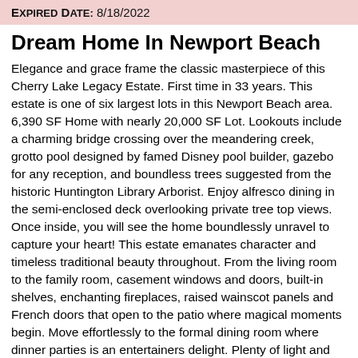Expired Date: 8/18/2022
Dream Home In Newport Beach
Elegance and grace frame the classic masterpiece of this Cherry Lake Legacy Estate. First time in 33 years. This estate is one of six largest lots in this Newport Beach area. 6,390 SF Home with nearly 20,000 SF Lot. Lookouts include a charming bridge crossing over the meandering creek, grotto pool designed by famed Disney pool builder, gazebo for any reception, and boundless trees suggested from the historic Huntington Library Arborist. Enjoy alfresco dining in the semi-enclosed deck overlooking private tree top views. Once inside, you will see the home boundlessly unravel to capture your heart! This estate emanates character and timeless traditional beauty throughout. From the living room to the family room, casement windows and doors, built-in shelves, enchanting fireplaces, raised wainscot panels and French doors that open to the patio where magical moments begin. Move effortlessly to the formal dining room where dinner parties is an entertainers delight. Plenty of light and bright in the dol.